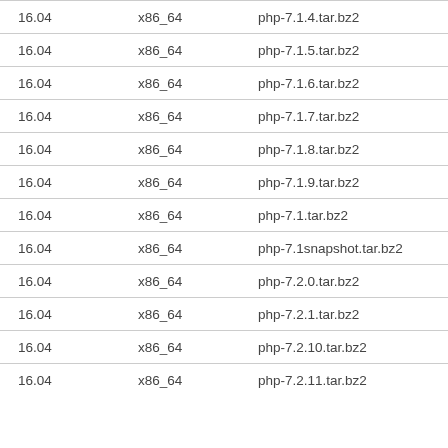| 16.04 | x86_64 | php-7.1.4.tar.bz2 |
| 16.04 | x86_64 | php-7.1.5.tar.bz2 |
| 16.04 | x86_64 | php-7.1.6.tar.bz2 |
| 16.04 | x86_64 | php-7.1.7.tar.bz2 |
| 16.04 | x86_64 | php-7.1.8.tar.bz2 |
| 16.04 | x86_64 | php-7.1.9.tar.bz2 |
| 16.04 | x86_64 | php-7.1.tar.bz2 |
| 16.04 | x86_64 | php-7.1snapshot.tar.bz2 |
| 16.04 | x86_64 | php-7.2.0.tar.bz2 |
| 16.04 | x86_64 | php-7.2.1.tar.bz2 |
| 16.04 | x86_64 | php-7.2.10.tar.bz2 |
| 16.04 | x86_64 | php-7.2.11.tar.bz2 |